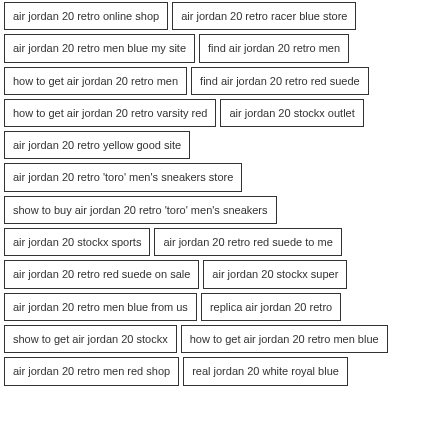air jordan 20 retro online shop
air jordan 20 retro racer blue store
air jordan 20 retro men blue my site
find air jordan 20 retro men
how to get air jordan 20 retro men
find air jordan 20 retro red suede
how to get air jordan 20 retro varsity red
air jordan 20 stockx outlet
air jordan 20 retro yellow good site
air jordan 20 retro 'toro' men's sneakers store
show to buy air jordan 20 retro 'toro' men's sneakers
air jordan 20 stockx sports
air jordan 20 retro red suede to me
air jordan 20 retro red suede on sale
air jordan 20 stockx super
air jordan 20 retro men blue from us
replica air jordan 20 retro
show to get air jordan 20 stockx
how to get air jordan 20 retro men blue
air jordan 20 retro men red shop
real jordan 20 white royal blue